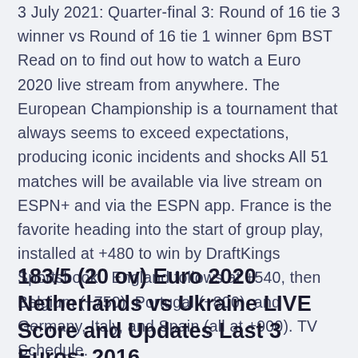3 July 2021: Quarter-final 3: Round of 16 tie 3 winner vs Round of 16 tie 1 winner 6pm BST Read on to find out how to watch a Euro 2020 live stream from anywhere. The European Championship is a tournament that always seems to exceed expectations, producing iconic incidents and shocks All 51 matches will be available via live stream on ESPN+ and via the ESPN app. France is the favorite heading into the start of group play, installed at +480 to win by DraftKings Sportsbook . England follows at +540, then Belgium (+750), Portugal (+800), and Germany, Italy, and Spain (all at +900). TV Schedule.
183/5 (20 ov) Euro 2020 Netherlands vs Ukraine LIVE Score and Updates Last 3 Euros: 2016